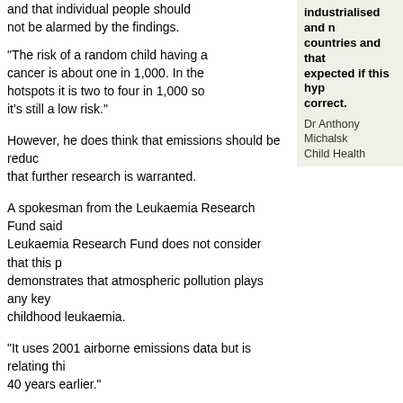and that individual people should not be alarmed by the findings.
"The risk of a random child having a cancer is about one in 1,000. In the hotspots it is two to four in 1,000 so it's still a low risk."
industrialised and non-industrialised countries and that would not be expected if this hypothesis was correct.
Dr Anthony Michalski, Institute of Child Health
However, he does think that emissions should be reduced and that further research is warranted.
A spokesman from the Leukaemia Research Fund said the Leukaemia Research Fund does not consider that this paper demonstrates that atmospheric pollution plays any key role in childhood leukaemia.
"It uses 2001 airborne emissions data but is relating this to cancers 40 years earlier."
"We would not wish parents to be made to feel that they, in any way, have been to blame for their child's illness."
Dr Anthony Michalski, from the Institute of Child Health, said rates of most paediatric tumours are relatively similar in industrialised and non-industrialised countries and that would not be expected if this hypothesis was correct."
Dr Lesley Walker, of Cancer Research UK, called the evidence "very thin".
A spokeswoman from the Department of Health said: "T